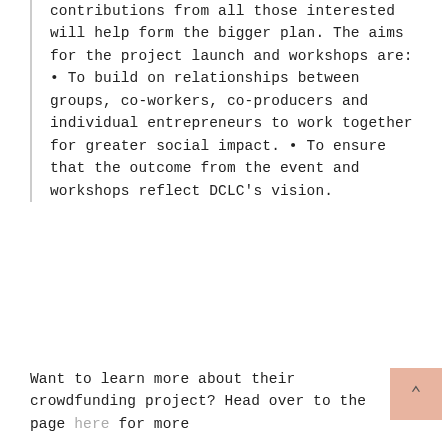contributions from all those interested will help form the bigger plan. The aims for the project launch and workshops are: • To build on relationships between groups, co-workers, co-producers and individual entrepreneurs to work together for greater social impact. • To ensure that the outcome from the event and workshops reflect DCLC's vision.
Want to learn more about their crowdfunding project? Head over to the page here for more